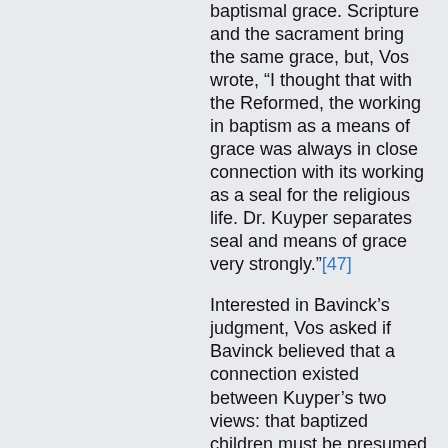baptismal grace. Scripture and the sacrament bring the same grace, but, Vos wrote, “I thought that with the Reformed, the working in baptism as a means of grace was always in close connection with its working as a seal for the religious life. Dr. Kuyper separates seal and means of grace very strongly.”[47]
Interested in Bavinck’s judgment, Vos asked if Bavinck believed that a connection existed between Kuyper’s two views: that baptized children must be presumed already to be regenerated, and that